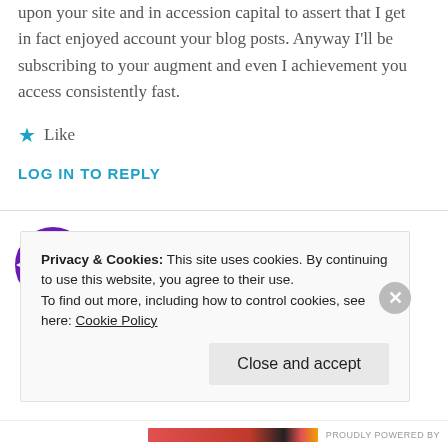upon your site and in accession capital to assert that I get in fact enjoyed account your blog posts. Anyway I'll be subscribing to your augment and even I achievement you access consistently fast.
★ Like
LOG IN TO REPLY
[Figure (logo): Purple and white geometric pinwheel/snowflake avatar icon]
□□□  □□□  □□□□□  □□□□□□
Privacy & Cookies: This site uses cookies. By continuing to use this website, you agree to their use.
To find out more, including how to control cookies, see here: Cookie Policy
Close and accept